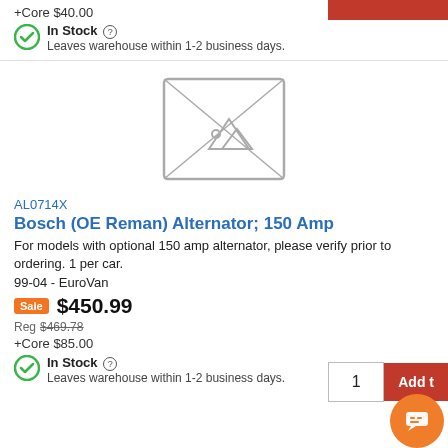+Core $40.00
In Stock ? Leaves warehouse within 1-2 business days.
[Figure (photo): Image placeholder icon (grey rectangle with mountain/image placeholder symbol)]
AL0714X
Bosch (OE Reman) Alternator; 150 Amp
For models with optional 150 amp alternator, please verify prior to ordering. 1 per car.
99-04 - EuroVan
Sale $450.99
Reg $469.78
+Core $85.00
In Stock ? Leaves warehouse within 1-2 business days.